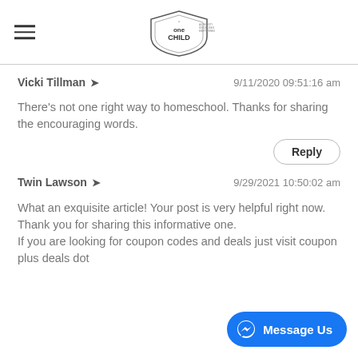One Child — navigation header with logo
Vicki Tillman   9/11/2020 09:51:16 am
There's not one right way to homeschool. Thanks for sharing the encouraging words.
Twin Lawson   9/29/2021 10:50:02 am
What an exquisite article! Your post is very helpful right now. Thank you for sharing this informative one.
If you are looking for coupon codes and deals just visit coupon plus deals dot